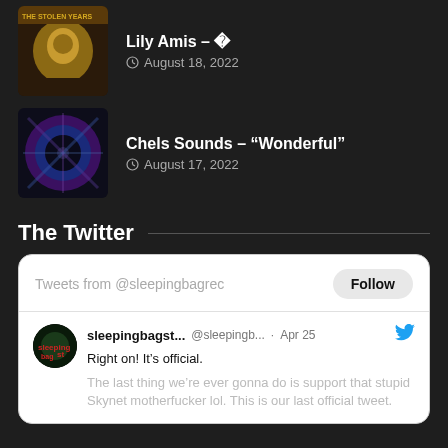Lily Amis – ‘80
August 18, 2022
Chels Sounds – “Wonderful”
August 17, 2022
The Twitter
[Figure (screenshot): Embedded Twitter widget showing Tweets from @sleepingbagrec with a Follow button, and a tweet from sleepingbagst... @sleepingb... · Apr 25 saying 'Right on! It's official.' followed by faded text 'The last thing we're ever gonna do is support that stupid Skynet motherfucker lol. This is our last official tweet.']